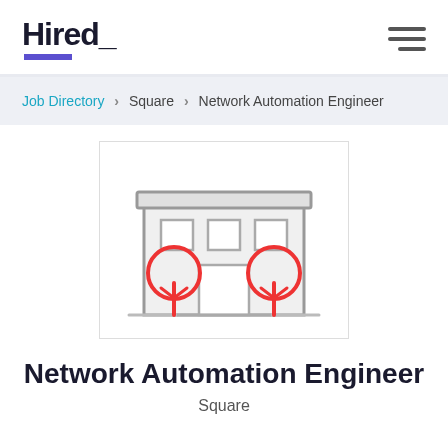Hired_
Job Directory > Square > Network Automation Engineer
[Figure (illustration): Office building illustration with gray walls, windows, a door, and two red circular trees flanking the entrance]
Network Automation Engineer
Square